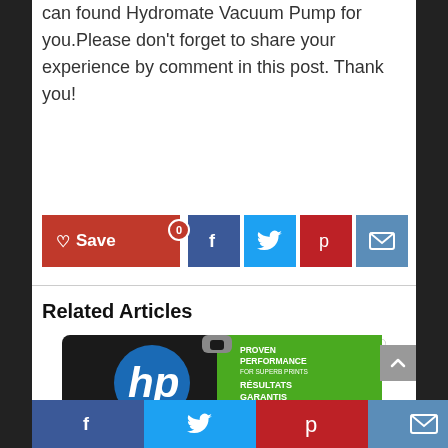can found Hydromate Vacuum Pump for you.Please don't forget to share your experience by comment in this post. Thank you!
[Figure (infographic): Social share buttons row: Save (red with heart), Facebook (blue), Twitter (light blue), Pinterest (red), Email (blue-grey)]
Related Articles
[Figure (photo): HP ink cartridge product image with 'Proven Performance for Superb Prints / Résultats Garantis pour des impressions superbes' text on packaging]
[Figure (infographic): Bottom social sharing bar with Facebook, Twitter, Pinterest, and Email icons]